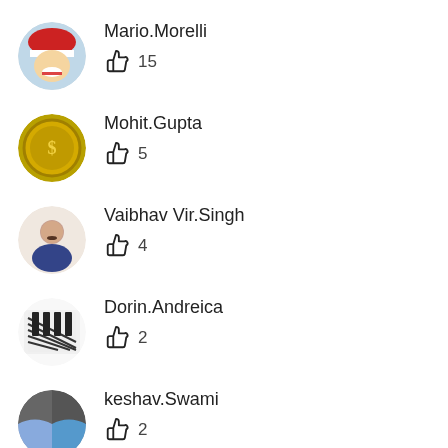Mario.Morelli — 15 likes
Mohit.Gupta — 5 likes
Vaibhav Vir.Singh — 4 likes
Dorin.Andreica — 2 likes
keshav.Swami — 2 likes
Alex.Camargo